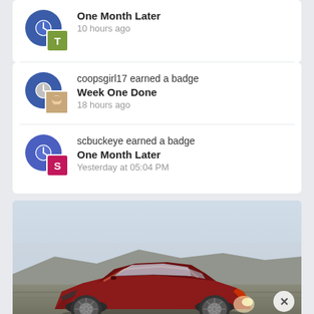One Month Later
10 hours ago
coopsgirl17 earned a badge
Week One Done
18 hours ago
scbuckeye earned a badge
One Month Later
Yesterday at 05:04 PM
[Figure (photo): Red Lexus LC sports car parked on a rocky landscape with mountains and hazy sky in the background. A close button (×) is visible in the lower right corner of the image.]